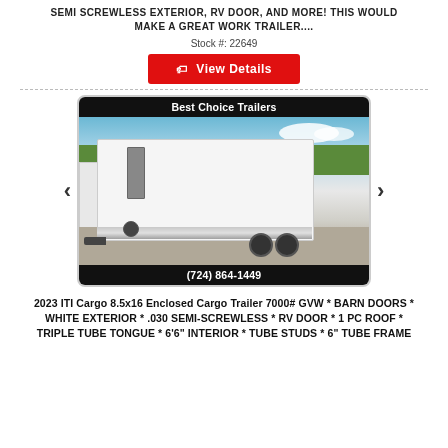SEMI SCREWLESS EXTERIOR, RV DOOR, AND MORE! THIS WOULD MAKE A GREAT WORK TRAILER....
Stock #: 22649
View Details
[Figure (photo): Photo of a white 2023 ITI Cargo enclosed cargo trailer with Best Choice Trailers branding, shown in a parking lot with phone number (724) 864-1449]
2023 ITI Cargo 8.5x16 Enclosed Cargo Trailer 7000# GVW * BARN DOORS * WHITE EXTERIOR * .030 SEMI-SCREWLESS * RV DOOR * 1 PC ROOF * TRIPLE TUBE TONGUE * 6'6" INTERIOR * TUBE STUDS * 6" TUBE FRAME